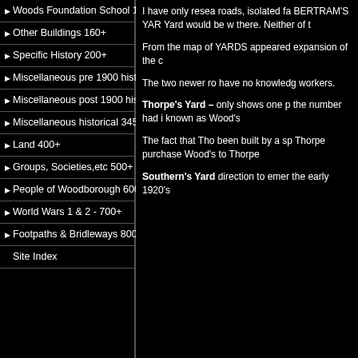Woods Foundation School 150+
Other Buildings 160+
Specific History 200+
Miscellaneous pre 1900 history 300+
Miscellaneous post 1900 history 321+
Miscellaneous historical 345+
Land 400+
Groups, Societies,etc 500+
People of Woodborough 600+
World Wars 1 & 2 - 700+
Footpaths & Bridleways 800+
Site Index
I have only resea roads, isolated fa BERTRAM'S YAR Yard would be w there. Neither of t
From the map of YARDS appeared expansion of the
The two newer ro have no knowledg workers.
Thorpe's Yard – only shows one p the number had i known as Wood's
The fact that Tho been built by a sp Thorpe purchase Wood's to Thorpe
Southern's Yard direction to emer the early 1920's